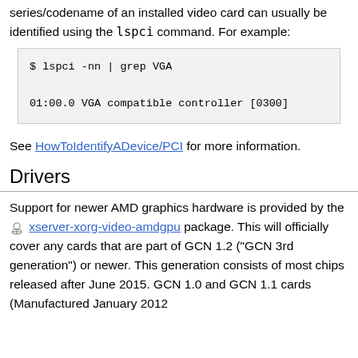series/codename of an installed video card can usually be identified using the lspci command. For example:
$ lspci -nn | grep VGA
01:00.0 VGA compatible controller [0300]
See HowToIdentifyADevice/PCI for more information.
Drivers
Support for newer AMD graphics hardware is provided by the xserver-xorg-video-amdgpu package. This will officially cover any cards that are part of GCN 1.2 ("GCN 3rd generation") or newer. This generation consists of most chips released after June 2015. GCN 1.0 and GCN 1.1 cards (Manufactured January 2012